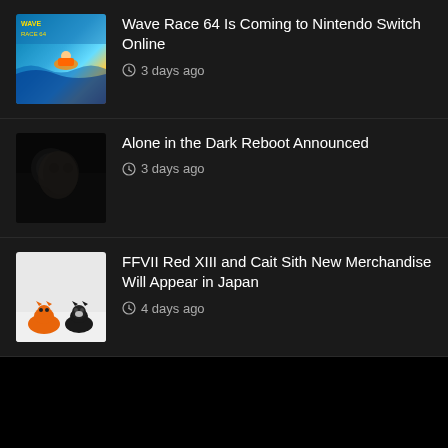[Figure (screenshot): News article thumbnail for Wave Race 64 Nintendo Switch Online - colorful jet ski game image]
Wave Race 64 Is Coming to Nintendo Switch Online
3 days ago
[Figure (screenshot): News article thumbnail for Alone in the Dark Reboot - dark moody image]
Alone in the Dark Reboot Announced
3 days ago
[Figure (screenshot): News article thumbnail for FFVII merchandise - orange and black cat figurines on white background]
FFVII Red XIII and Cait Sith New Merchandise Will Appear in Japan
4 days ago
[Figure (logo): Gold circular button with joystick and plus icon - floating action button]